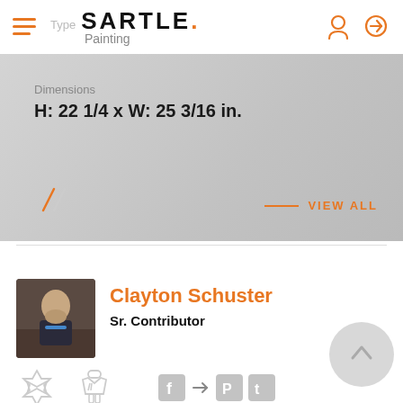SARTLE.
Type  Painting
Dimensions
H: 22 1/4 x W: 25 3/16 in.
VIEW ALL
Clayton Schuster
Sr. Contributor
[Figure (photo): Profile photo of Clayton Schuster]
[Figure (illustration): Jewish star icon and clothing/figure icon in light gray; social media share icons (Facebook, arrow, Pinterest, Tumblr)]
[Figure (illustration): Back-to-top circular button with upward chevron]